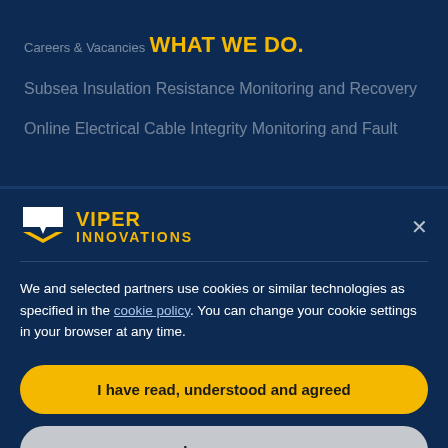Careers & Vacancies
WHAT WE DO.
Subsea Insulation Resistance Monitoring and Recovery
Online Electrical Cable Integrity Monitoring and Fault
[Figure (logo): Viper Innovations logo — white chevron/arrow icon with yellow VIPER INNOVATIONS text]
We and selected partners use cookies or similar technologies as specified in the cookie policy. You can change your cookie settings in your browser at any time.
I have read, understood and agreed
Learn more